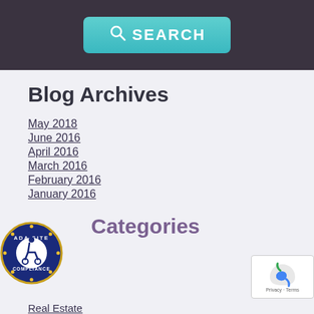[Figure (other): Dark header bar with teal SEARCH button containing a magnifying glass icon]
Blog Archives
May 2018
June 2016
April 2016
March 2016
February 2016
January 2016
[Figure (logo): ADA Site Compliance badge with wheelchair accessibility icon]
Categories
Real Estate
[Figure (logo): reCAPTCHA badge with Privacy and Terms links]